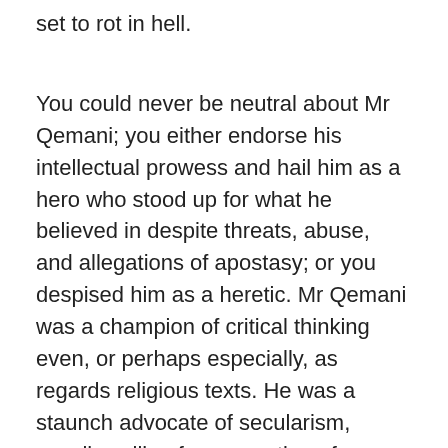set to rot in hell.
You could never be neutral about Mr Qemani; you either endorse his intellectual prowess and hail him as a hero who stood up for what he believed in despite threats, abuse, and allegations of apostasy; or you despised him as a heretic. Mr Qemani was a champion of critical thinking even, or perhaps especially, as regards religious texts. He was a staunch advocate of secularism, vocally calling for separation of religion and State, and for correcting widespread erroneous ideas on pre-Islamic and Islamic history. He viewed the Qur'an as a historical document to be studied using the same scientific tools and criteria employed for other disciplines. Little surprise that he was a prime target of Islamic threat and revilement.